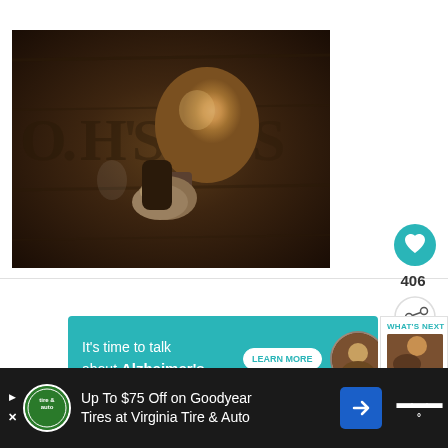[Figure (photo): Close-up photograph of a vintage shaving brush with a wooden/globe-shaped handle resting on a worn wooden surface with partial lettering visible in background. Warm sepia-toned image.]
406
[Figure (infographic): Teal advertisement banner: 'It's time to talk about Alzheimer's.' with a LEARN MORE button and a circular photo of a person]
WHAT'S NEXT → Hear This! Beautiful...
Up To $75 Off on Goodyear Tires at Virginia Tire & Auto